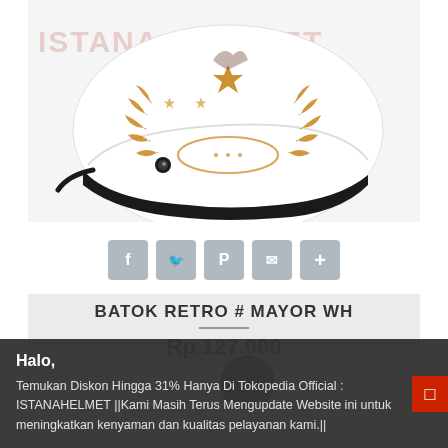[Figure (photo): White retro motorcycle helmet (batok style) with gold/brown decorative floral and star design, photographed on white background. Watermark text 'ISTANA HELMET' visible across image.]
[Figure (infographic): Row of five social sharing buttons: Facebook (f), Twitter bird, Pinterest (P), Email (envelope), and More (+), each as grey rounded square icons.]
BATOK RETRO # MAYOR WH
Rp.127.000
Halo,
Temukan Diskon Hingga 31% Hanya Di Tokopedia Official : ISTANAHELMET ||Kami Masih Terus Mengupdate Website ini untuk meningkatkan kenyaman dan kualitas pelayanan kami.||